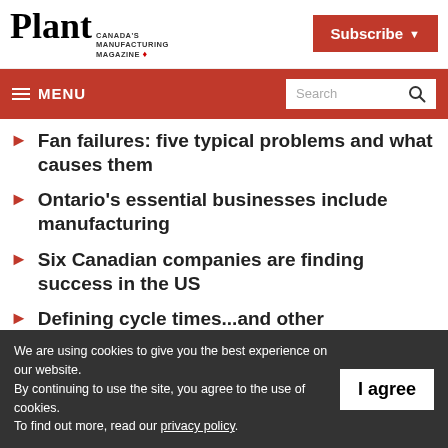Plant Canada's Manufacturing Magazine — Subscribe
≡ MENU  Search
Fan failures: five typical problems and what causes them
Ontario's essential businesses include manufacturing
Six Canadian companies are finding success in the US
Defining cycle times...and other manufacturing terms
We are using cookies to give you the best experience on our website. By continuing to use the site, you agree to the use of cookies. To find out more, read our privacy policy.